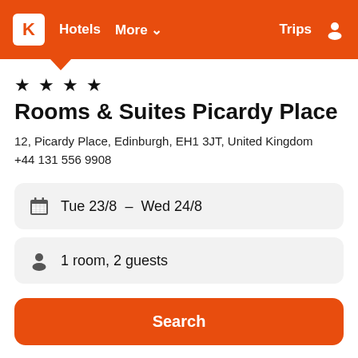K  Hotels  More ▾  Trips
★ ★ ★ ★
Rooms & Suites Picardy Place
12, Picardy Place, Edinburgh, EH1 3JT, United Kingdom
+44 131 556 9908
Tue 23/8  -  Wed 24/8
1 room, 2 guests
Search
| Provider | Nightly total |
| --- | --- |